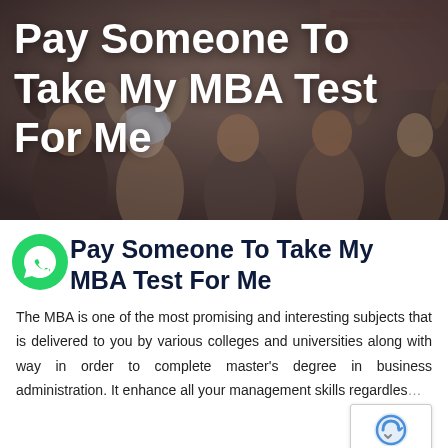[Figure (photo): Group of diverse, happy students celebrating with arms raised. Dark overlay with white bold title text 'Pay Someone To Take My MBA Test For Me' overlaid on top.]
Pay Someone To Take My MBA Test For Me
Pay Someone To Take My MBA Test For Me
The MBA is one of the most promising and interesting subjects that is delivered to you by various colleges and universities along with way in order to complete master's degree in business administration. It enhance all your management skills regardless